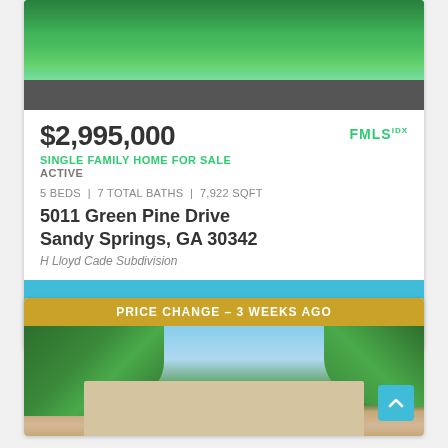[Figure (photo): Swimming pool photo with green water and dark paved surroundings]
$2,995,000
[Figure (logo): FMLS IDX logo in green]
SINGLE FAMILY HOME FOR SALE
ACTIVE
5 BEDS | 7 TOTAL BATHS | 7,922 SQFT
5011 Green Pine Drive
Sandy Springs, GA 30342
H Lloyd Cade Subdivision
[Figure (infographic): Teal action bar with icons: star, smiley face, chat bubble, share, close/X]
PRICE CHANGE – 3 WEEKS AGO
[Figure (photo): House exterior photo with blue sky, trees, and tan/beige house facade]